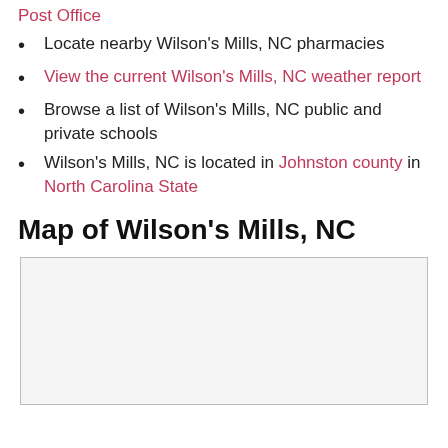Find the Wilson's Mills, NC United States Post Office
Locate nearby Wilson's Mills, NC pharmacies
View the current Wilson's Mills, NC weather report
Browse a list of Wilson's Mills, NC public and private schools
Wilson's Mills, NC is located in Johnston county in North Carolina State
Map of Wilson's Mills, NC
[Figure (map): Map placeholder area for Wilson's Mills, NC — a large empty bordered rectangle]